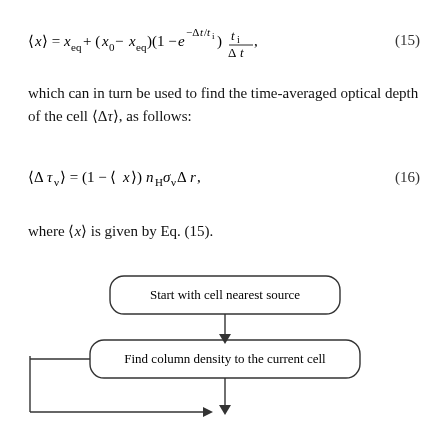which can in turn be used to find the time-averaged optical depth of the cell ⟨Δτ⟩, as follows:
where ⟨x⟩ is given by Eq. (15).
[Figure (flowchart): Flowchart showing: 'Start with cell nearest source' box at top, arrow pointing down to 'Find column density to the current cell' box, then arrow pointing down with a left-side loop arrow feeding back from below.]